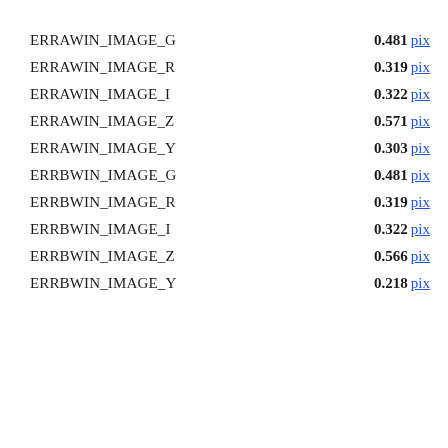ERRAWIN_IMAGE_G  0.481 pix
ERRAWIN_IMAGE_R  0.319 pix
ERRAWIN_IMAGE_I  0.322 pix
ERRAWIN_IMAGE_Z  0.571 pix
ERRAWIN_IMAGE_Y  0.303 pix
ERRBWIN_IMAGE_G  0.481 pix
ERRBWIN_IMAGE_R  0.319 pix
ERRBWIN_IMAGE_I  0.322 pix
ERRBWIN_IMAGE_Z  0.566 pix
ERRBWIN_IMAGE_Y  0.218 pix